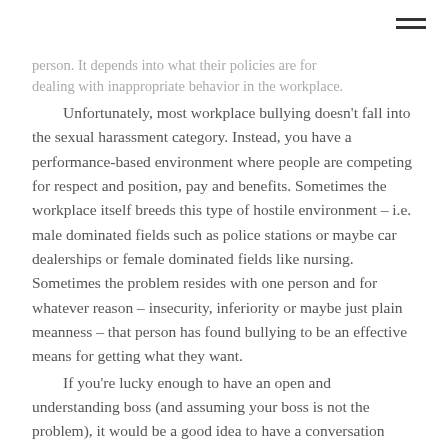person. It depends into what their policies are for dealing with inappropriate behavior in the workplace.
Unfortunately, most workplace bullying doesn't fall into the sexual harassment category. Instead, you have a performance-based environment where people are competing for respect and position, pay and benefits. Sometimes the workplace itself breeds this type of hostile environment – i.e. male dominated fields such as police stations or maybe car dealerships or female dominated fields like nursing. Sometimes the problem resides with one person and for whatever reason – insecurity, inferiority or maybe just plain meanness – that person has found bullying to be an effective means for getting what they want.
If you're lucky enough to have an open and understanding boss (and assuming your boss is not the problem), it would be a good idea to have a conversation